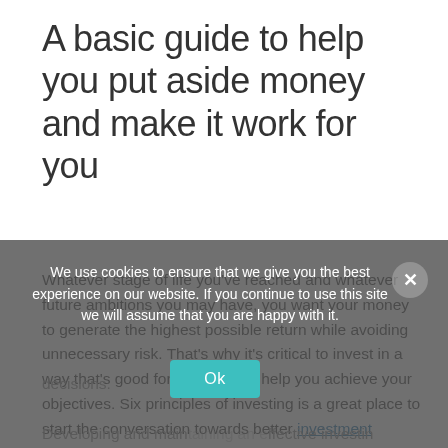A basic guide to help you put aside money and make it work for you
Whatever stage of life you've reached and whatever future ambitions you may have, you want your money to generate the highest possible return while avoiding unnecessary risk. That's why it's critical to invest in a way that's good for you and will help you achieve your objectives. Six principles of investing is a great place to start the conversation towards better investment decisions.
We use cookies to ensure that we give you the best experience on our website. If you continue to use this site we will assume that you are happy with it.
Developing and maintaining an effective investing strategy is critical to safeguarding your financial fu...
How much do you want to be in charge of your...